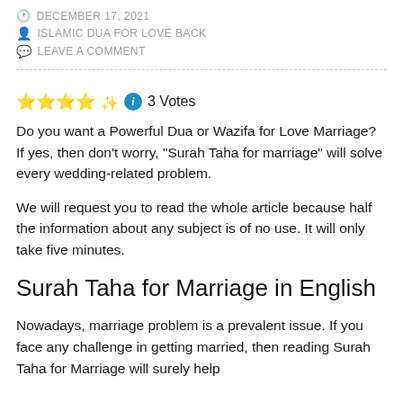DECEMBER 17, 2021
ISLAMIC DUA FOR LOVE BACK
LEAVE A COMMENT
3 Votes
Do you want a Powerful Dua or Wazifa for Love Marriage? If yes, then don't worry, "Surah Taha for marriage" will solve every wedding-related problem.
[Figure (infographic): Black banner overlay: Click to Consult on Whatsapp]
We will request you to read the whole article because half the information about any subject is of no use. It will only take five minutes.
Surah Taha for Marriage in English
Nowadays, marriage problem is a prevalent issue. If you face any challenge in getting married, then reading Surah Taha for Marriage will surely help